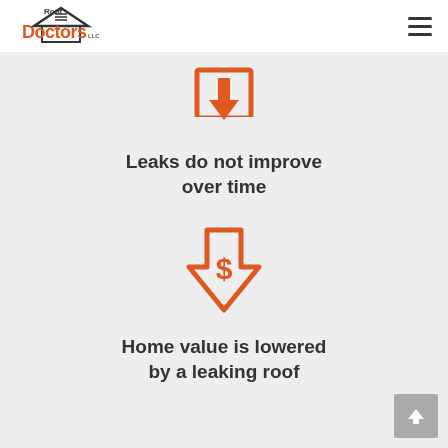Roof Doctors LLC
[Figure (infographic): Orange outline icon of a bracket/roof shape with a downward arrow inside, indicating leak/water drop entering]
Leaks do not improve over time
[Figure (infographic): Orange outline downward arrow icon with a dollar sign inside, indicating home value decrease]
Home value is lowered by a leaking roof